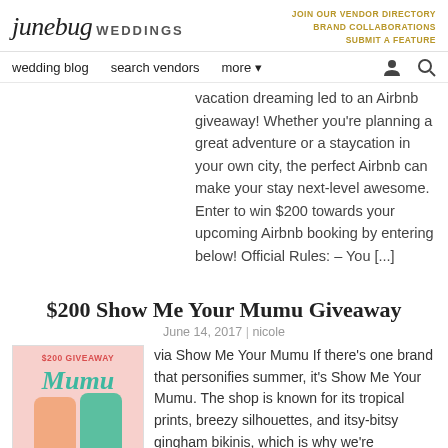junebug WEDDINGS | JOIN OUR VENDOR DIRECTORY | BRAND COLLABORATIONS | SUBMIT A FEATURE
wedding blog | search vendors | more
vacation dreaming led to an Airbnb giveaway! Whether you're planning a great adventure or a staycation in your own city, the perfect Airbnb can make your stay next-level awesome. Enter to win $200 towards your upcoming Airbnb booking by entering below! Official Rules: – You [...]
$200 Show Me Your Mumu Giveaway
June 14, 2017 | nicole
[Figure (photo): Show Me Your Mumu $200 giveaway promotional image with two women]
via Show Me Your Mumu If there's one brand that personifies summer, it's Show Me Your Mumu. The shop is known for its tropical prints, breezy silhouettes, and itsy-bitsy gingham bikinis, which is why we're